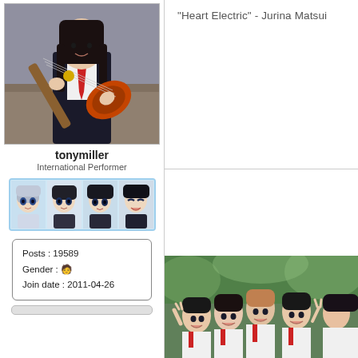[Figure (photo): Profile photo of tonymiller: person in school uniform playing electric guitar]
tonymiller
International Performer
[Figure (illustration): Four anime-style avatar icons in a blue-bordered strip]
| Posts : 19589 |
| Gender : 🧑 |
| Join date : 2011-04-26 |
"Heart Electric" - Jurina Matsui
[Figure (photo): Group photo of several young women in school uniforms posing outdoors]